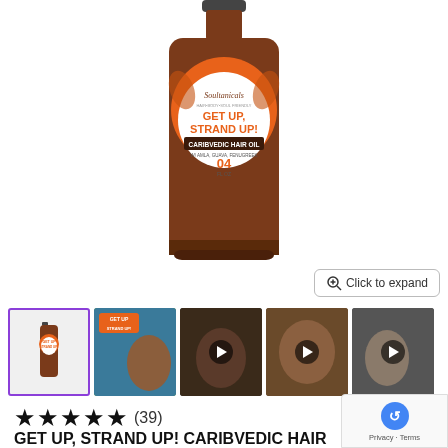[Figure (photo): Product bottle of Soultanicals Get Up, Strand Up! Caribvedic Hair Oil, 04 fl oz, with orange and brown decorative label]
[Figure (screenshot): Five product thumbnails: selected bottle image with purple border, lifestyle image, and three video thumbnails with play buttons]
★★★★★ (39)
GET UP, STRAND UP! CARIBVEDIC HAIR OIL
$15.00